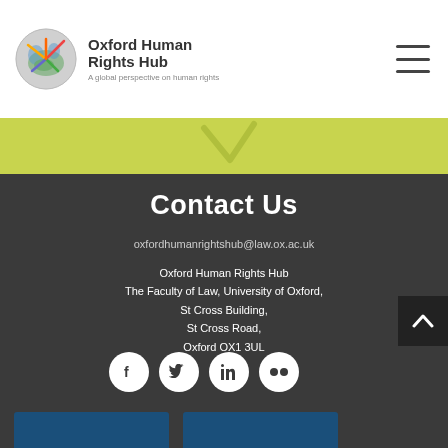Oxford Human Rights Hub - A global perspective on human rights
[Figure (illustration): Yellow/lime green banner with a checkmark or decorative element]
Contact Us
oxfordhumanrightshub@law.ox.ac.uk
Oxford Human Rights Hub
The Faculty of Law, University of Oxford,
St Cross Building,
St Cross Road,
Oxford OX1 3UL
[Figure (infographic): Four social media icons: Facebook, Twitter, LinkedIn, Flickr]